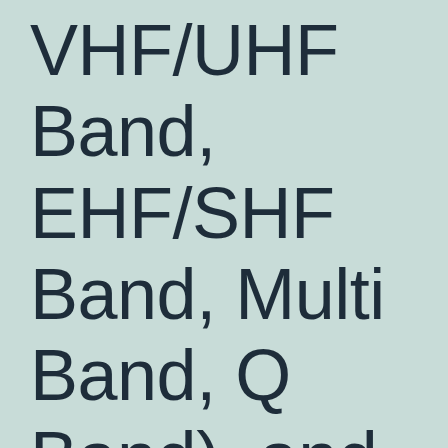VHF/UHF Band, EHF/SHF Band, Multi Band, Q Band), and Region –